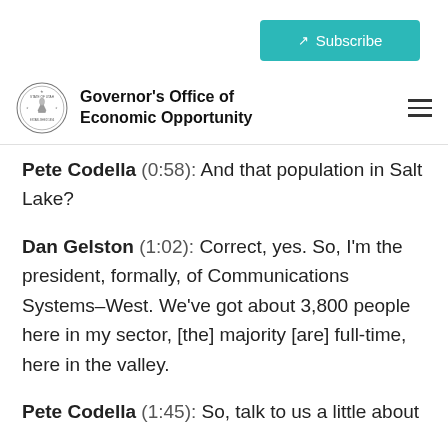Subscribe
[Figure (logo): Governor's Office of Economic Opportunity seal logo with organization name]
Pete Codella (0:58): And that population in Salt Lake?
Dan Gelston (1:02): Correct, yes. So, I'm the president, formally, of Communications Systems–West. We've got about 3,800 people here in my sector, [the] majority [are] full-time, here in the valley.
Pete Codella (1:45): So, talk to us a little about